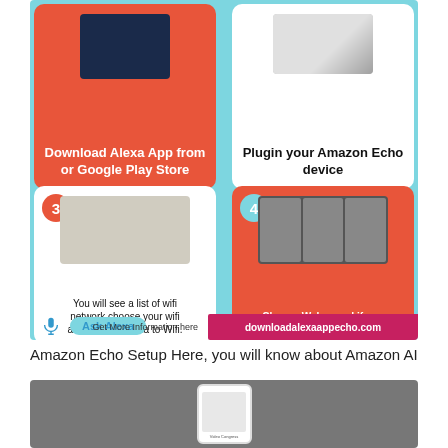[Figure (infographic): A 4-step infographic for Amazon Echo setup on a light blue background. Step 1 (orange box): Download Alexa App from or Google Play Store. Step 2 (white box): Plugin your Amazon Echo device. Step 3 (white box, number 3 in orange circle): photo of phone near Echo Dot, text 'You will see a list of wifi network choose your wifi and connect Alexa to Wifi.' Step 4 (orange box, number 4 in teal circle): screenshot of app setup screens, text 'Change Wake word if you want.' Bottom: mic icon, Ask Alexa button, 'Get More Information here', downloadalexaappecho.com URL banner.]
Amazon Echo Setup Here, you will know about Amazon AI
[Figure (screenshot): Gray background image showing a white smartphone mockup with a screen labeled 'Video Congress'.]